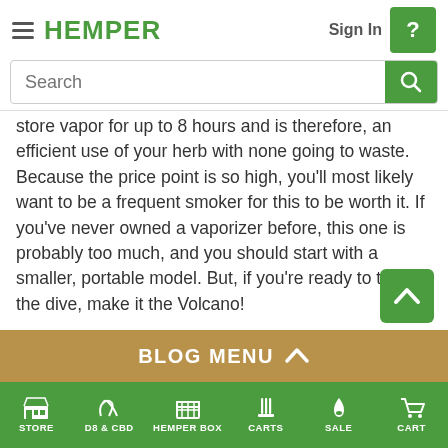HEMPER — Sign In — Navigation header with search bar
store vapor for up to 8 hours and is therefore, an efficient use of your herb with none going to waste. Because the price point is so high, you'll most likely want to be a frequent smoker for this to be worth it. If you've never owned a vaporizer before, this one is probably too much, and you should start with a smaller, portable model. But, if you're ready to take the dive, make it the Volcano!
Pros:
Reliable manufacturer
Smooth flavor
STORE | D8 & CBD | HEMPER BOX | CARTS | SALE | CART